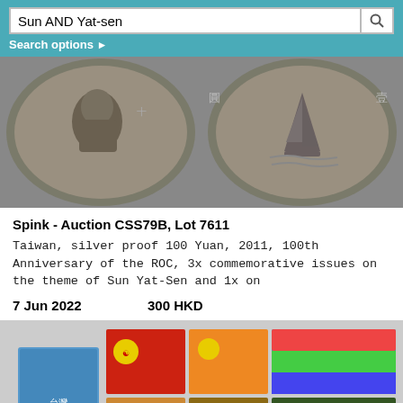Sun AND Yat-sen | Search options ▶
[Figure (photo): Two silver coins side by side: left coin shows portrait of Sun Yat-Sen in profile, right coin shows a junk sailboat with Chinese characters 圓 and 壹]
Spink - Auction CSS79B, Lot 7611
Taiwan, silver proof 100 Yuan, 2011, 100th Anniversary of the ROC, 3x commemorative issues on the theme of Sun Yat-Sen and 1x on
7 Jun 2022    300 HKD
[Figure (photo): Collection of colorful commemorative coin/stamp packages featuring Taiwan-related imagery including the ROC flag emblem, maps, and a portrait of Sun Yat-Sen]